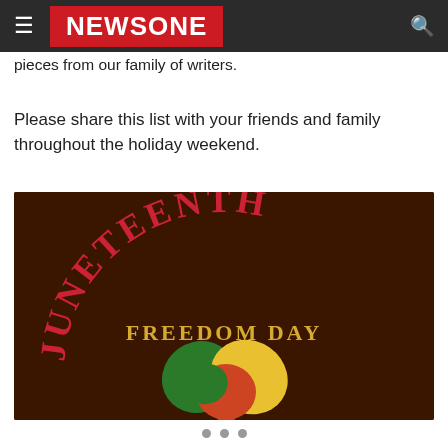NEWSONE
pieces from our family of writers.
Please share this list with your friends and family throughout the holiday weekend.
[Figure (illustration): Juneteenth Freedom Day graphic with dark brown background, red arched text reading JUNETEENTH, gold text reading FREEDOM DAY, and a heart shape in green, yellow, and red Pan-African colors at the bottom.]